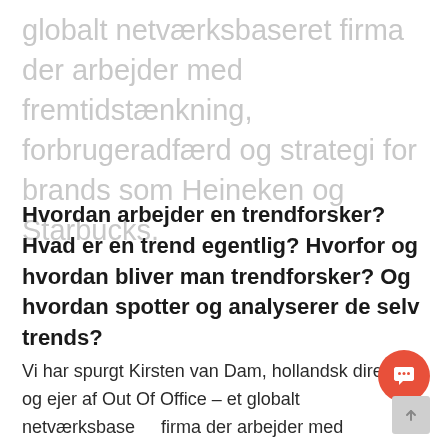globalt netværksbaseret firma der arbejder med fremtidstænkning, forbrugeradfærd og strategi for brands som Heineken og Starbucks.
Hvordan arbejder en trendforsker? Hvad er en trend egentlig? Hvorfor og hvordan bliver man trendforsker? Og hvordan spotter og analyserer de selv trends?
Vi har spurgt Kirsten van Dam, hollandsk direktør og ejer af Out Of Office – et globalt netværksbaseret firma der arbejder med fremtidstænkning, forbrugeradfærd og strategi for brands som